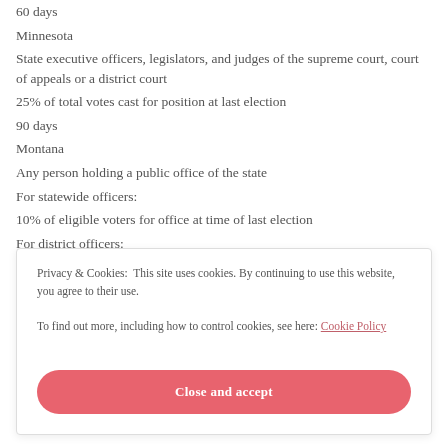60 days
Minnesota
State executive officers, legislators, and judges of the supreme court, court of appeals or a district court
25% of total votes cast for position at last election
90 days
Montana
Any person holding a public office of the state
For statewide officers:
10% of eligible voters for office at time of last election
For district officers:
Privacy & Cookies: This site uses cookies. By continuing to use this website, you agree to their use. To find out more, including how to control cookies, see here: Cookie Policy
Close and accept